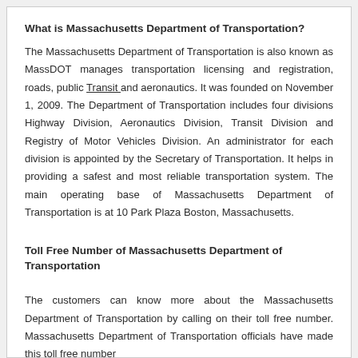What is Massachusetts Department of Transportation?
The Massachusetts Department of Transportation is also known as MassDOT manages transportation licensing and registration, roads, public Transit and aeronautics. It was founded on November 1, 2009. The Department of Transportation includes four divisions Highway Division, Aeronautics Division, Transit Division and Registry of Motor Vehicles Division. An administrator for each division is appointed by the Secretary of Transportation. It helps in providing a safest and most reliable transportation system. The main operating base of Massachusetts Department of Transportation is at 10 Park Plaza Boston, Massachusetts.
Toll Free Number of Massachusetts Department of Transportation
The customers can know more about the Massachusetts Department of Transportation by calling on their toll free number. Massachusetts Department of Transportation officials have made this toll free number